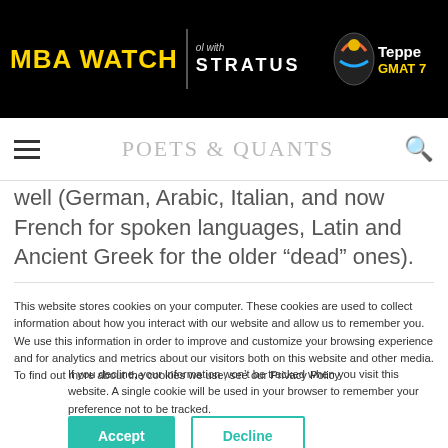MBA WATCH | ol with STRATUS | Teppe GMAT 7
Poets & Quants
well (German, Arabic, Italian, and now French for spoken languages, Latin and Ancient Greek for the older “dead” ones).
This website stores cookies on your computer. These cookies are used to collect information about how you interact with our website and allow us to remember you. We use this information in order to improve and customize your browsing experience and for analytics and metrics about our visitors both on this website and other media. To find out more about the cookies we use, see our Privacy Policy.
If you decline, your information won’t be tracked when you visit this website. A single cookie will be used in your browser to remember your preference not to be tracked.